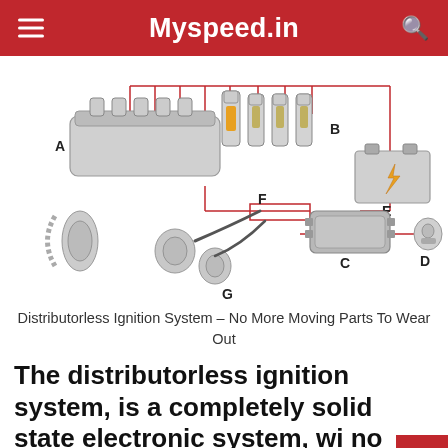Myspeed.in
[Figure (schematic): Distributorless Ignition System diagram showing labeled components: A (ignition coil pack), B (spark plugs), C (ECU/ignition control module), D (ignition switch/key), E (battery), F (crankshaft position sensor), G (camshaft/timing chain). Red lines show wiring connections between components.]
Distributorless Ignition System – No More Moving Parts To Wear Out
The distributorless ignition system, is a completely solid state electronic system, wi no moving parts.